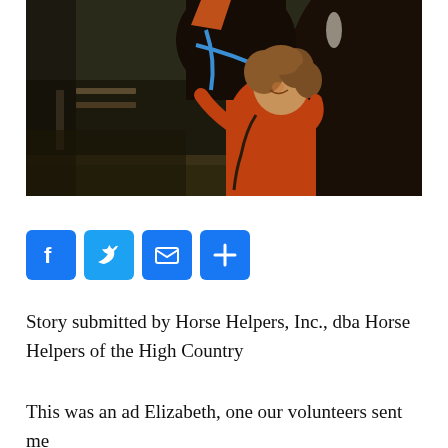[Figure (photo): A woman with curly hair wearing an orange turtleneck sweater standing next to and hugging a dark brown/black horse with an orange ear cover and blue halter. The background shows a wooden fence and trees in an outdoor setting.]
[Figure (infographic): Social sharing buttons: Facebook (f), Twitter (bird), Email (envelope), and More (+) icons, all with blue rounded square backgrounds.]
Story submitted by Horse Helpers, Inc., dba Horse Helpers of the High Country
This was an ad Elizabeth, one our volunteers sent me